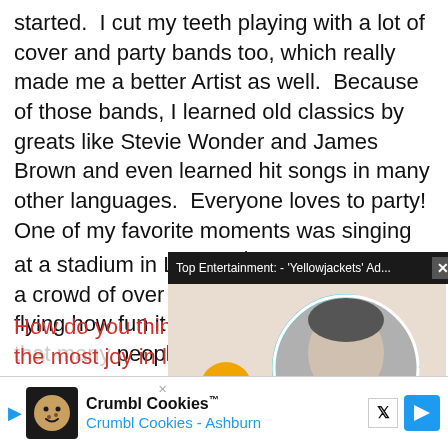started.  I cut my teeth playing with a lot of cover and party bands too, which really made me a better Artist as well.  Because of those bands, I learned old classics by greats like Stevie Wonder and James Brown and even learned hit songs in many other languages.  Everyone loves to party!  One of my favorite moments was singing at a stadium in LA for 4th of July.  We had a crowd of over 20,000 and I swear I was flying how fun it was to perform in front of that many people and see the
How do you think b... the most joy in life ... be a good role mod...
Being a musician is... that strangers com... your... reall...
[Figure (screenshot): Advertisement overlay: Top bar reads 'Top Entertainment: - Yellowjackets Ad...' with close button X. Below it a video thumbnail with a circular photo of a man in black and white, a yellow mute button, and teal loading ring.]
[Figure (screenshot): Bottom ad banner: Crumbl Cookies logo and text 'Crumbl Cookies™ / Crumbl Cookies - Ashburn' with X logo and blue navigation icon.]